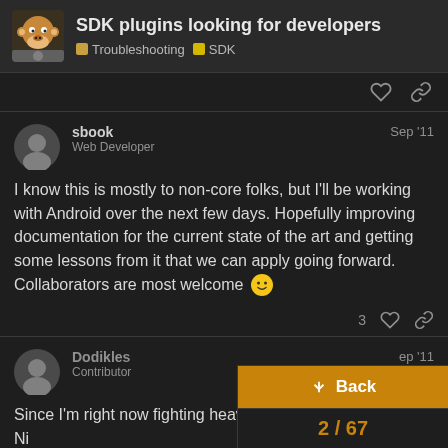SDK plugins looking for developers — Troubleshooting | SDK
sbook
Web Developer
Sep '11
I know this is mostly to non-core folks, but I'll be working with Android over the next few days. Hopefully improving documentation for the current state of the art and getting some lessons from it that we can apply going forward. Collaborators are most welcome 🙂
Dodikles
Contributor
Sep '11
Since I'm right now fighting heavily with Ni have something like an easy-to-use editor